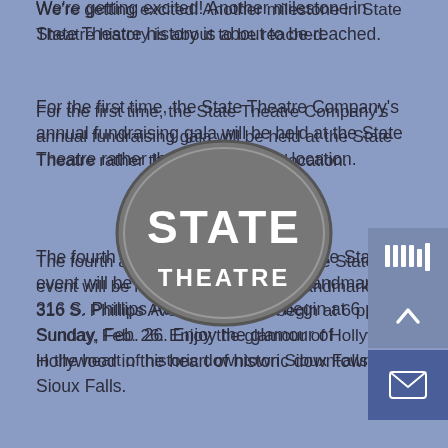We're getting excited! Another milestone in State Theatre history is about to be reached.
For the first time, the State Theatre Company's annual fundraising gala will be held at the State Theatre rather than at an off-site location.
[Figure (logo): State Theatre oval logo with 'STATE THEATRE' text in decorative font on grey background]
The fourth annual Stars, Statues & The State event will be held at the downtown landmark at 316 S. Phillips Ave. The fun will begin at 6 p.m. Sunday, Feb. 26. Enjoy the glamour of Hollywood in the heart of historic downtown Sioux Falls.
Stars, Statues & The State will feature a live telecast of the 89th Annual Academy Awards show and a silent auction. The event will be catered by Chef Dominique and include desserts from CH Patisserie. Valet parking will be available, and we'll shovel off the red carpet.
Attendance will be limited to 300 people. We expect the